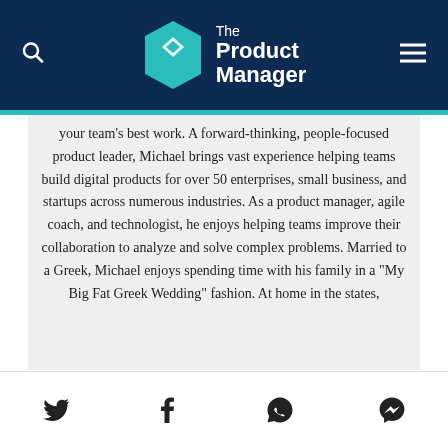The Product Manager
your team's best work. A forward-thinking, people-focused product leader, Michael brings vast experience helping teams build digital products for over 50 enterprises, small business, and startups across numerous industries. As a product manager, agile coach, and technologist, he enjoys helping teams improve their collaboration to analyze and solve complex problems. Married to a Greek, Michael enjoys spending time with his family in a "My Big Fat Greek Wedding" fashion. At home in the states,
Social share icons: Twitter, Facebook, WhatsApp, Messenger